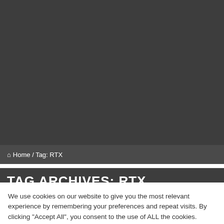Home / Tag: RTX
TAG ARCHIVES: RTX
We use cookies on our website to give you the most relevant experience by remembering your preferences and repeat visits. By clicking “Accept All”, you consent to the use of ALL the cookies. However, you may visit "Cookie Settings" to provide a controlled consent.
Cookie Settings | Accept All